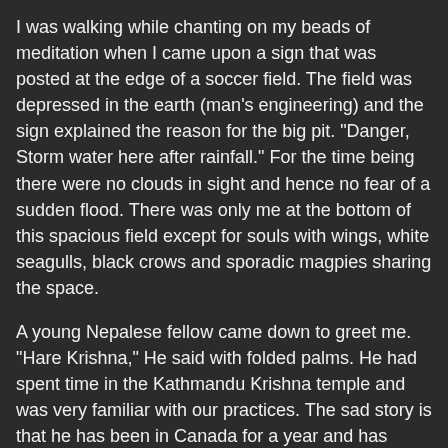I was walking while chanting on my beads of meditation when I came upon a sign that was posted at the edge of a soccer field. The field was depressed in the earth (man's engineering) and the sign explained the reason for the big pit. "Danger, Storm water here after rainfall." For the time being there were no clouds in sight and hence no fear of a sudden flood. There was only me at the bottom of this spacious field except for souls with wings, white seagulls, black crows and sporadic magpies sharing the space.
A young Nepalese fellow came down to greet me. "Hare Krishna," He said with folded palms. He had spent time in the Kathmandu Krishna temple and was very familiar with our practices. The sad story is that he has been in Canada for a year and has difficulty landing a decent job to help support his family. Anyways, he introduced himself as Sushil.
Sushil recalls the days he spent in the temple in Kathmandu living with the monks before he got married. He realizes there's no turning back. He has a young son and wife which requires responsibility. He's trying.